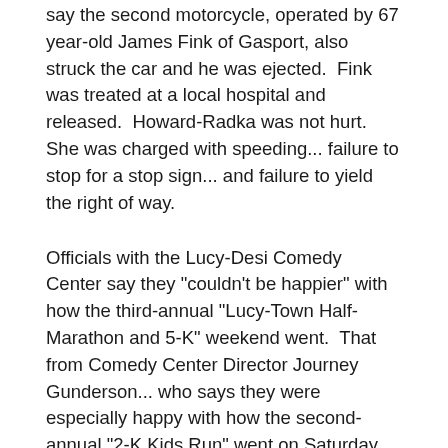say the second motorcycle, operated by 67 year-old James Fink of Gasport, also struck the car and he was ejected.  Fink was treated at a local hospital and released.  Howard-Radka was not hurt.  She was charged with speeding... failure to stop for a stop sign... and failure to yield the right of way.
Officials with the Lucy-Desi Comedy Center say they "couldn't be happier" with how the third-annual "Lucy-Town Half-Marathon and 5-K" weekend went.  That from Comedy Center Director Journey Gunderson... who says they were especially happy with how the second-annual "2-K Kids Run" went on Saturday.  Gunderson says it was a prelude to the 5-K Run... and, the Half-Marathon Sunday morning. Gunderson also says there was also a good crowd of several-hundred people for Saturday night's "Headliner" comedy show with Joy Behar... and, adds the Co-Host of ABC-TV's "The View" loved the "great audience."  She says they were again blessed with